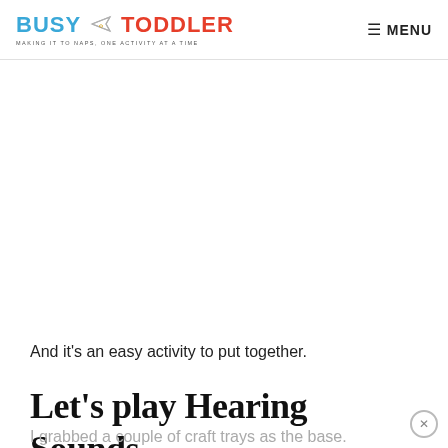BUSY TODDLER — MAKING IT TO NAPS, ONE ACTIVITY AT A TIME | MENU
And it's an easy activity to put together.
Let's play Hearing Sounds
I grabbed a couple of craft trays as the base.